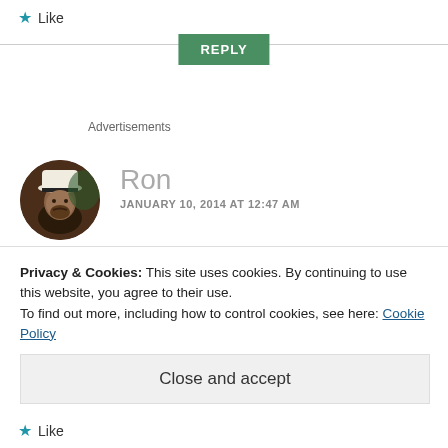★ Like
REPLY
Advertisements
Ron
JANUARY 10, 2014 AT 12:47 AM
[Figure (photo): Circular profile photo of a man wearing a white hat with a black band, with dark background]
Privacy & Cookies: This site uses cookies. By continuing to use this website, you agree to their use.
To find out more, including how to control cookies, see here: Cookie Policy
Close and accept
★ Like